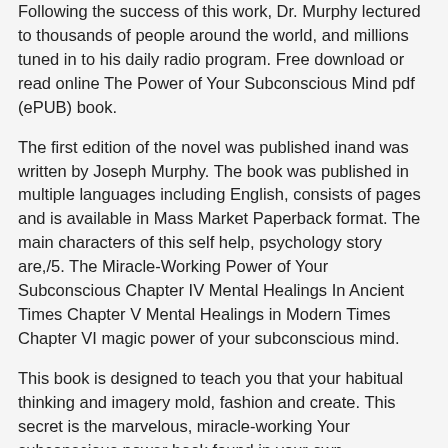Following the success of this work, Dr. Murphy lectured to thousands of people around the world, and millions tuned in to his daily radio program. Free download or read online The Power of Your Subconscious Mind pdf (ePUB) book.
The first edition of the novel was published inand was written by Joseph Murphy. The book was published in multiple languages including English, consists of pages and is available in Mass Market Paperback format. The main characters of this self help, psychology story are,/5. The Miracle-Working Power of Your Subconscious Chapter IV Mental Healings In Ancient Times Chapter V Mental Healings in Modern Times Chapter VI magic power of your subconscious mind.
This book is designed to teach you that your habitual thinking and imagery mold, fashion and create. This secret is the marvelous, miracle-working Your subconscious power book found in your own subconscious mind, the last place that most people would seek it.